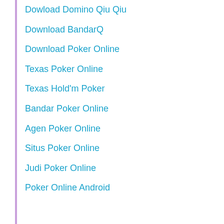Dowload Domino Qiu Qiu
Download BandarQ
Download Poker Online
Texas Poker Online
Texas Hold'm Poker
Bandar Poker Online
Agen Poker Online
Situs Poker Online
Judi Poker Online
Poker Online Android